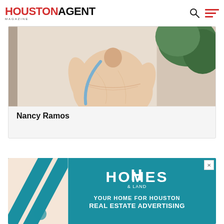HOUSTON AGENT Magazine
[Figure (photo): Photo of Nancy Ramos, a woman in a beige long-sleeve top posing with hand on hip against a light background]
Nancy Ramos
[Figure (infographic): Advertisement for Homes & Land magazine: 'YOUR HOME FOR HOUSTON REAL ESTATE ADVERTISING' on teal/blue background with diagonal stripe design]